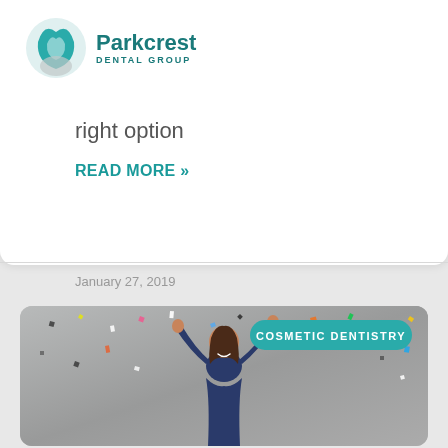[Figure (logo): Parkcrest Dental Group logo with teal tooth/wave icon]
right option
READ MORE »
January 27, 2019
[Figure (photo): Woman in navy dress with arms raised celebrating, confetti falling, gray background, with 'COSMETIC DENTISTRY' teal badge overlay]